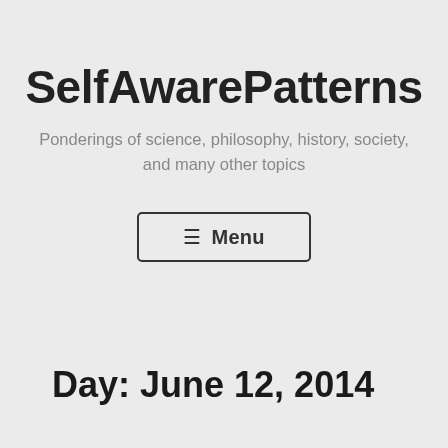SelfAwarePatterns
Ponderings of science, philosophy, history, society, and many other topics
≡ Menu
Day: June 12, 2014